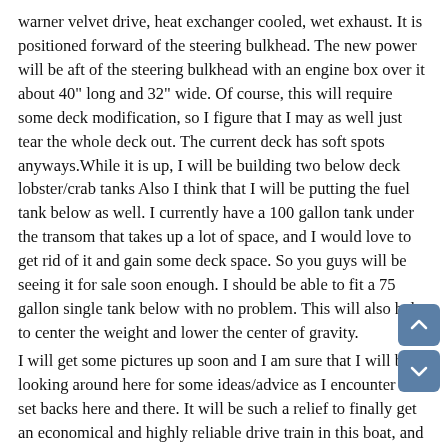warner velvet drive, heat exchanger cooled, wet exhaust. It is positioned forward of the steering bulkhead. The new power will be aft of the steering bulkhead with an engine box over it about 40" long and 32" wide. Of course, this will require some deck modification, so I figure that I may as well just tear the whole deck out. The current deck has soft spots anyways.While it is up, I will be building two below deck lobster/crab tanks Also I think that I will be putting the fuel tank below as well. I currently have a 100 gallon tank under the transom that takes up a lot of space, and I would love to get rid of it and gain some deck space. So you guys will be seeing it for sale soon enough. I should be able to fit a 75 gallon single tank below with no problem. This will also help to center the weight and lower the center of gravity.
I will get some pictures up soon and I am sure that I will be looking around here for some ideas/advice as I encounter little set backs here and there. It will be such a relief to finally get an economical and highly reliable drive train in this boat, and I look forward to the challenge ahead of me.